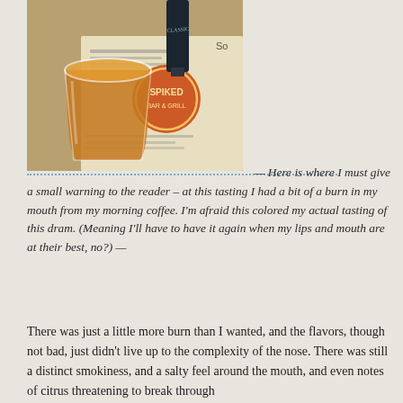[Figure (photo): Photo of a glass of whisky (amber colored spirit) on a restaurant table with a menu visible in the background, showing a circular logo that reads something like 'Spiked' or similar bar/restaurant branding.]
— Here is where I must give a small warning to the reader – at this tasting I had a bit of a burn in my mouth from my morning coffee. I'm afraid this colored my actual tasting of this dram. (Meaning I'll have to have it again when my lips and mouth are at their best, no?)  —
There was just a little more burn than I wanted, and the flavors, though not bad, just didn't live up to the complexity of the nose. There was still a distinct smokiness, and a salty feel around the mouth, and even notes of citrus threatening to break through